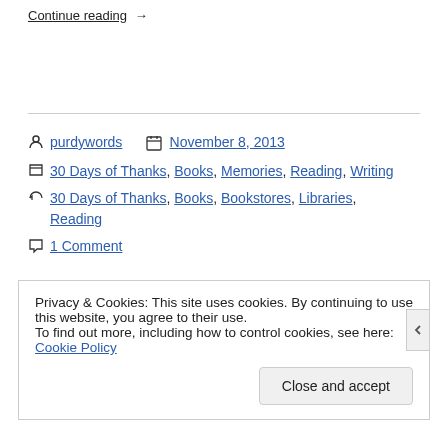Continue reading →
purdywords   November 8, 2013
30 Days of Thanks, Books, Memories, Reading, Writing
30 Days of Thanks, Books, Bookstores, Libraries, Reading
1 Comment
Privacy & Cookies: This site uses cookies. By continuing to use this website, you agree to their use.
To find out more, including how to control cookies, see here: Cookie Policy